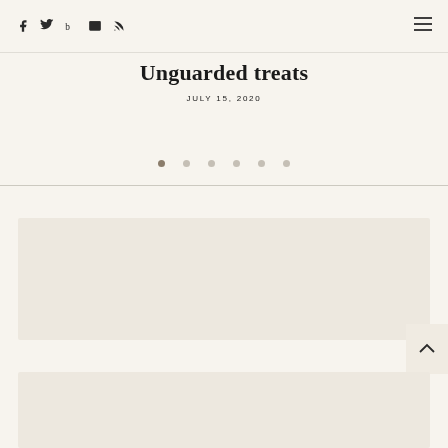Social icons: facebook, twitter, bloglovin, email, rss; hamburger menu
Unguarded treats
JULY 15, 2020
[Figure (other): Pagination dots row: 6 dots, first dot active/filled, rest empty]
[Figure (photo): Image placeholder beige/cream background area (top)]
[Figure (photo): Image placeholder beige/cream background area (bottom)]